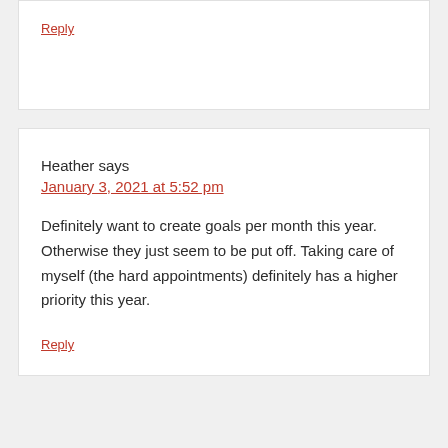Reply
Heather says
January 3, 2021 at 5:52 pm
Definitely want to create goals per month this year. Otherwise they just seem to be put off. Taking care of myself (the hard appointments) definitely has a higher priority this year.
Reply